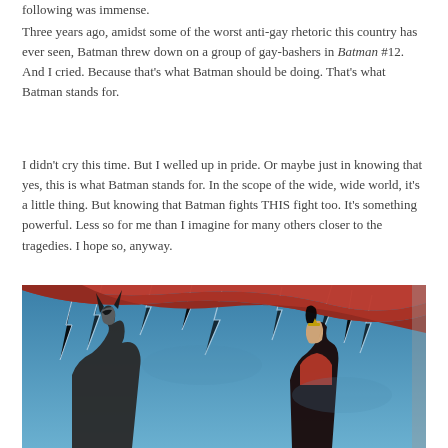following was immense.
Three years ago, amidst some of the worst anti-gay rhetoric this country has ever seen, Batman threw down on a group of gay-bashers in Batman #12. And I cried. Because that’s what Batman should be doing. That’s what Batman stands for.
I didn’t cry this time. But I welled up in pride. Or maybe just in knowing that yes, this is what Batman stands for. In the scope of the wide, wide world, it’s a little thing. But knowing that Batman fights THIS fight too. It’s something powerful. Less so for me than I imagine for many others closer to the tragedies. I hope so, anyway.
[Figure (illustration): Comic book cover art showing Batman and Wonder Woman in a dramatic scene with lightning in a blue sky background, with a large red cape or banner sweeping across the top of the image.]